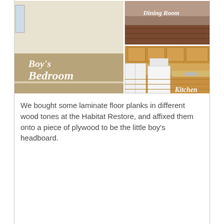[Figure (photo): A collage of four room photos: Boy's Bedroom (carpeted room, left large), Dining Room (upper right, wood floor), Kitchen (lower right, with white appliances and wood cabinets). Text overlays label each room in a cursive/script font.]
We bought some laminate floor planks in different wood tones at the Habitat Restore, and affixed them onto a piece of plywood to be the little boy's headboard.